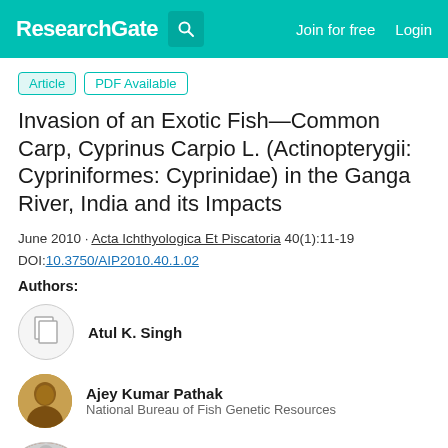ResearchGate  Join for free  Login
Article  PDF Available
Invasion of an Exotic Fish—Common Carp, Cyprinus Carpio L. (Actinopterygii: Cypriniformes: Cyprinidae) in the Ganga River, India and its Impacts
June 2010 · Acta Ichthyologica Et Piscatoria 40(1):11-19
DOI:10.3750/AIP2010.40.1.02
Authors:
Atul K. Singh
Ajey Kumar Pathak
National Bureau of Fish Genetic Resources